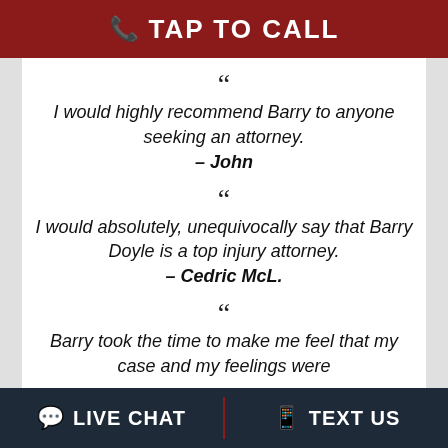📞 TAP TO CALL
" I would highly recommend Barry to anyone seeking an attorney. — John
" I would absolutely, unequivocally say that Barry Doyle is a top injury attorney. — Cedric McL.
" Barry took the time to make me feel that my case and my feelings were
💬 LIVE CHAT   📱 TEXT US